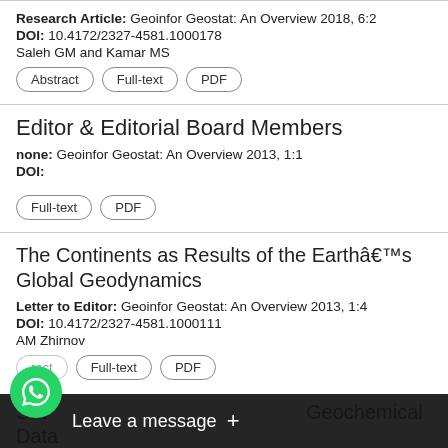Research Article: Geoinfor Geostat: An Overview 2018, 6:2
DOI: 10.4172/2327-4581.1000178
Saleh GM and Kamar MS
Abstract | Full-text | PDF
Editor & Editorial Board Members
none: Geoinfor Geostat: An Overview 2013, 1:1
DOI:
Full-text | PDF
The Continents as Results of the Earth's Global Geodynamics
Letter to Editor: Geoinfor Geostat: An Overview 2013, 1:4
DOI: 10.4172/2327-4581.1000111
AM Zhirnov
Abstract | Full-text | PDF
Sta... Geochemical Data...